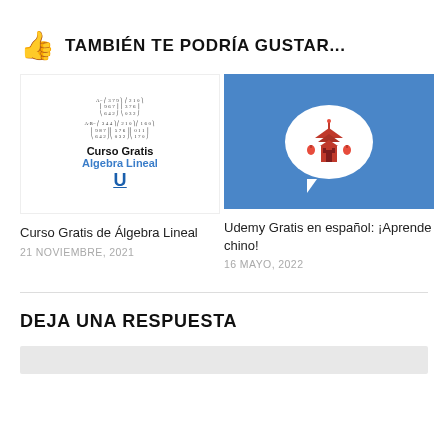👍 TAMBIÉN TE PODRÍA GUSTAR...
[Figure (illustration): Thumbnail for Algebra Lineal course showing matrix equations, 'Curso Gratis', 'Algebra Lineal' text in blue, and underlined U logo]
[Figure (illustration): Thumbnail for Udemy Chinese course showing a blue background with white speech bubble containing a red Chinese pagoda illustration]
Curso Gratis de Álgebra Lineal
21 NOVIEMBRE, 2021
Udemy Gratis en español: ¡Aprende chino!
16 MAYO, 2022
DEJA UNA RESPUESTA